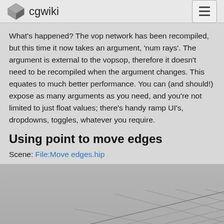cgwiki
What's happened? The vop network has been recompiled, but this time it now takes an argument, 'num rays'. The argument is external to the vopsop, therefore it doesn't need to be recompiled when the argument changes. This equates to much better performance. You can (and should!) expose as many arguments as you need, and you're not limited to just float values; there's handy ramp UI's, dropdowns, toggles, whatever you require.
Using point to move edges
Scene: File:Move edges.hip
[Figure (screenshot): Screenshot of a 3D viewport showing a grid mesh on a gray surface, with a panel on the right showing menu items: Evaluation, Export, Speed]